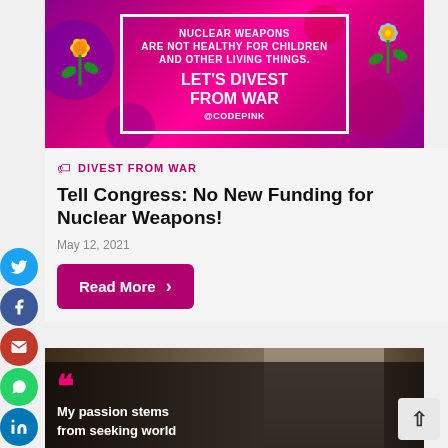[Figure (illustration): CODEPINK banner with hot pink background showing decorative flowers and text: NUCLEAR WEAPONS ARE NOT HEALTHY FOR CHILDREN AND OTHER LIVING THINGS. LET'S DIVEST FROM WAR @CODEPINK]
DIVEST FROM WAR
Tell Congress: No New Funding for Nuclear Weapons!
May 12, 2021
Read More
[Figure (photo): Photo of a woman with gray hair talking on the phone, with quote text overlay: My passion stems from seeking world...]